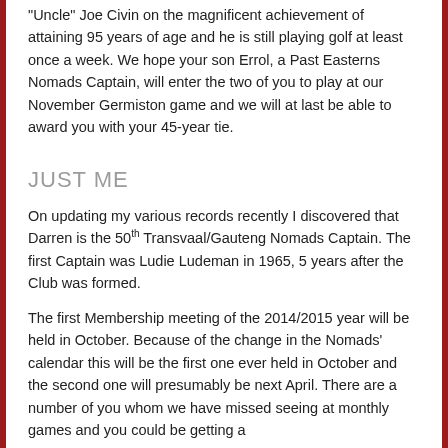"Uncle" Joe Civin on the magnificent achievement of attaining 95 years of age and he is still playing golf at least once a week.  We hope your son Errol, a Past Easterns Nomads Captain, will enter the two of you to play at our November Germiston game and we will at last be able to award you with your 45-year tie.
JUST ME
On updating my various records recently I discovered that Darren is the 50th Transvaal/Gauteng Nomads Captain.  The first Captain was Ludie Ludeman in 1965, 5 years after the Club was formed.
The first Membership meeting of the 2014/2015 year will be held in October. Because of the change in the Nomads' calendar this will be the first one ever held in October and the second one will presumably be next April.  There are a number of you whom we have missed seeing at monthly games and you could be getting a